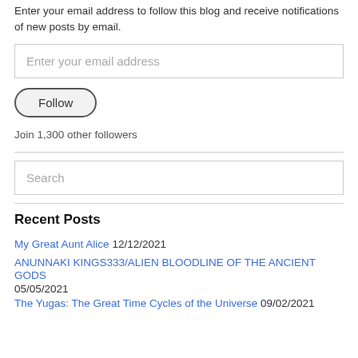Enter your email address to follow this blog and receive notifications of new posts by email.
[Figure (screenshot): Email address input field with placeholder text 'Enter your email address']
[Figure (screenshot): Follow button with rounded border]
Join 1,300 other followers
[Figure (screenshot): Search input field with placeholder text 'Search']
Recent Posts
My Great Aunt Alice 12/12/2021
ANUNNAKI KINGS333/ALIEN BLOODLINE OF THE ANCIENT GODS 05/05/2021
The Yugas: The Great Time Cycles of the Universe 09/02/2021